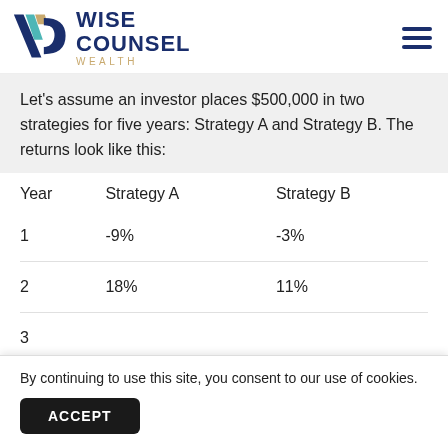[Figure (logo): Wise Counsel Wealth logo with stylized WC monogram in navy, teal, and gold, with text WISE COUNSEL WEALTH]
Let's assume an investor places $500,000 in two strategies for five years: Strategy A and Strategy B. The returns look like this:
| Year | Strategy A | Strategy B |
| --- | --- | --- |
| 1 | -9% | -3% |
| 2 | 18% | 11% |
| 3 |  |  |
By continuing to use this site, you consent to our use of cookies.